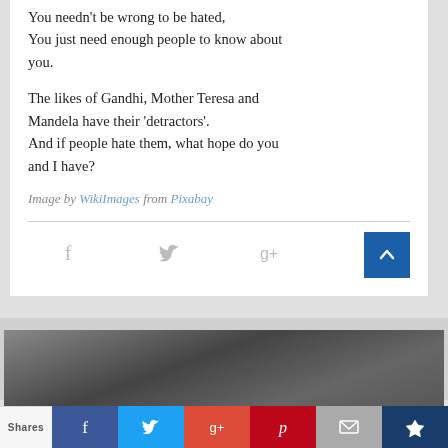You needn't be wrong to be hated,
You just need enough people to know about you.
The likes of Gandhi, Mother Teresa and Mandela have their ‘detractors’.
And if people hate them, what hope do you and I have?
Image by WikiImages from Pixabay
[Figure (other): Social share icons: Facebook, Twitter, Google+, Pinterest, and a scroll-to-top button]
[Figure (photo): Black and white photograph strip showing blurred figures]
Shares | Facebook | Twitter | Google+ | Pinterest | Mail | Crown